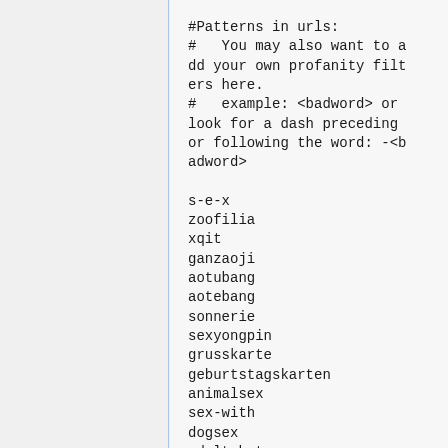#Patterns in urls:
#   You may also want to add your own profanity filters here.
#   example: <badword> or look for a dash preceding or following the word: -<badword>

s-e-x
zoofilia
xqit
ganzaoji
aotubang
aotebang
sonnerie
sexyongpin
grusskarte
geburtstagskarten
animalsex
sex-with
dogsex
adultchat
adultlive